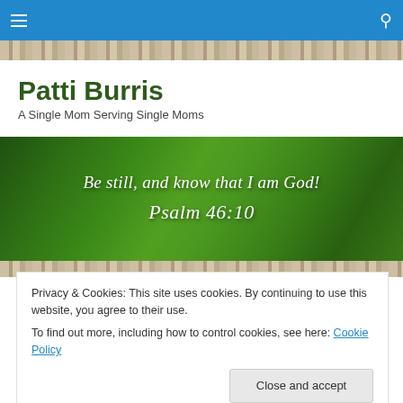Patti Burris – Navigation bar with menu and search icons
Patti Burris
A Single Mom Serving Single Moms
[Figure (illustration): Green tree canopy hero banner with overlaid cursive white text: 'Be still, and know that I am God! Psalm 46:10']
Privacy & Cookies: This site uses cookies. By continuing to use this website, you agree to their use.
To find out more, including how to control cookies, see here: Cookie Policy